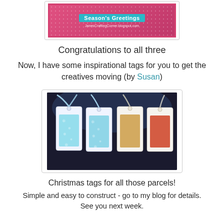[Figure (photo): A crafted card with pink/magenta background with white dot pattern and 'Season's Greetings' text in teal banner, with blog URL at bottom]
Congratulations to all three
Now, I have some inspirational tags for you to get the creatives moving (by Susan)
[Figure (photo): Four white gift tags with ribbons arranged on a dark background. Two tags on the left have blue/teal glitter snowflake patterns; two on the right have gold and red/orange decorative stamp patterns.]
Christmas tags for all those parcels!
Simple and easy to construct - go to my blog for details. See you next week.